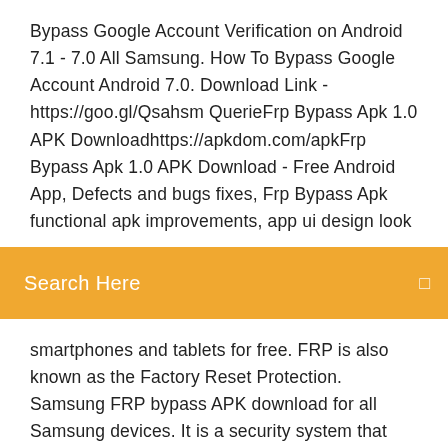Bypass Google Account Verification on Android 7.1 - 7.0 All Samsung. How To Bypass Google Account Android 7.0. Download Link - https://goo.gl/Qsahsm QuerieFrp Bypass Apk 1.0 APK Downloadhttps://apkdom.com/apkFrp Bypass Apk 1.0 APK Download - Free Android App, Defects and bugs fixes, Frp Bypass Apk functional apk improvements, app ui design look
Search Here
smartphones and tablets for free. FRP is also known as the Factory Reset Protection. Samsung FRP bypass APK download for all Samsung devices. It is a security system that developed by the Google for the android V5.0,5.1 (Lollipop) 6.1.1, V6.0.1, (Marshmallow) &V7.0, V7.01…Bypass Google Account Lock FRP - Příspěvky | Facebookhttps://facebook.com/unlockfrps/postsBypass Google Account Lock FRP. 2 718 To se mi líbí · Mluví o tom (54). Easy Way To Unlock Samsung FRP using OTG Cable FRP Lock